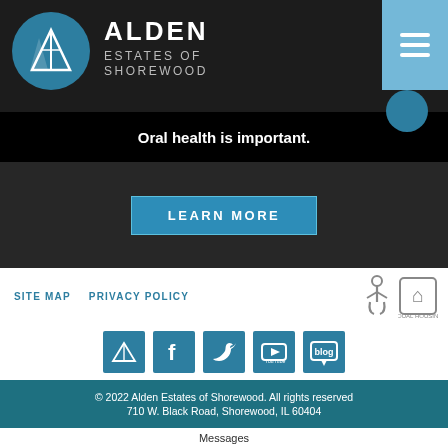[Figure (logo): Alden Estates of Shorewood logo with circular teal emblem and white text on dark background]
Oral health is important.
LEARN MORE
SITE MAP   PRIVACY POLICY
[Figure (illustration): Accessibility and Equal Housing Opportunity icons]
[Figure (illustration): Social media icons: Alden, Facebook, Twitter, YouTube, Blog]
© 2022 Alden Estates of Shorewood. All rights reserved
710 W. Black Road, Shorewood, IL 60404
Messages